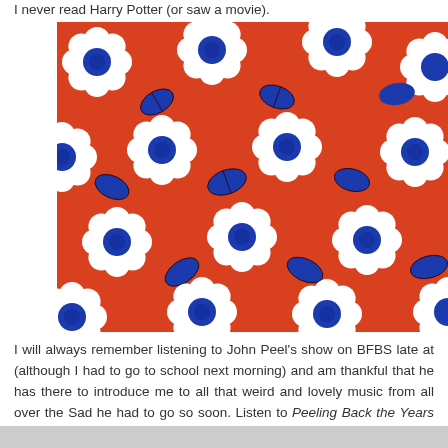I never read Harry Potter (or saw a movie).
[Figure (photo): Close-up photo of fabric or wrapping paper with a bold retro pattern: white daisy flowers with blue centers on a bright red/orange background, with dark blue leaves and dark outline stems.]
I will always remember listening to John Peel's show on BFBS late at (although I had to go to school next morning) and am thankful that he has there to introduce me to all that weird and lovely music from all over the Sad he had to go so soon. Listen to Peeling Back the Years here.
[Figure (photo): Partial bottom strip of another image, cropped at bottom of page.]